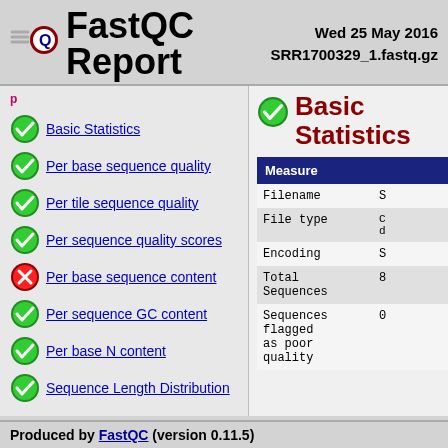FastQC Report
Wed 25 May 2016
SRR1700329_1.fastq.gz
Basic Statistics
Basic Statistics
Per base sequence quality
Per tile sequence quality
Per sequence quality scores
Per base sequence content
Per sequence GC content
Per base N content
Sequence Length Distribution
| Measure | Value |
| --- | --- |
| Filename | S... |
| File type | C... |
| Encoding | S... |
| Total Sequences | 8... |
| Sequences flagged as poor quality | 0... |
Produced by FastQC (version 0.11.5)